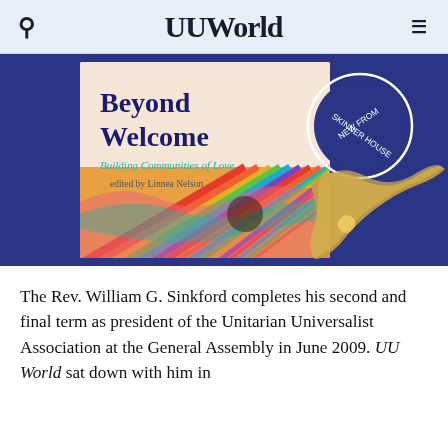UUWorld
[Figure (illustration): Book cover for 'Beyond Welcome: Building Communities of Love' edited by Linnea Nelson, published by Skinner House. The cover shows colorful abstract wave patterns and a golden bird/hand shape on a deep blue background. A circular badge reads 'NEW FROM SKINNER HOUSE'.]
The Rev. William G. Sinkford completes his second and final term as president of the Unitarian Universalist Association at the General Assembly in June 2009. UU World sat down with him in